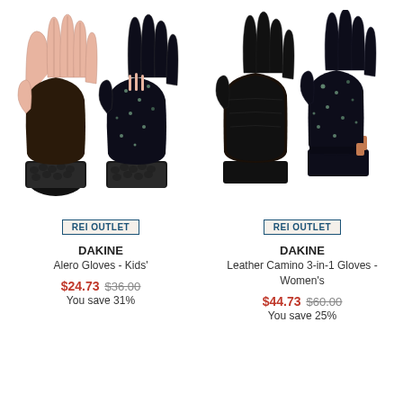[Figure (photo): Dakine Alero Kids gloves - two gloves shown, palm side and back, black with floral print and sherpa cuff, pink accents]
[Figure (photo): Dakine Leather Camino 3-in-1 Women's gloves - two gloves shown, black leather palm and floral print back]
REI OUTLET
DAKINE
Alero Gloves - Kids'
$24.73 $36.00
You save 31%
REI OUTLET
DAKINE
Leather Camino 3-in-1 Gloves - Women's
$44.73 $60.00
You save 25%